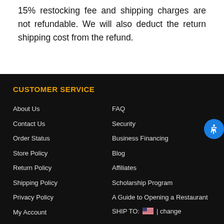15% restocking fee and shipping charges are not refundable. We will also deduct the return shipping cost from the refund.
CUSTOMER SERVICE
About Us
FAQ
Contact Us
Security
Order Status
Business Financing
Store Policy
Blog
Return Policy
Affiliates
Shipping Policy
Scholarship Program
Privacy Policy
A Guide to Opening a Restaurant
My Account
SHIP TO: [US flag] | change